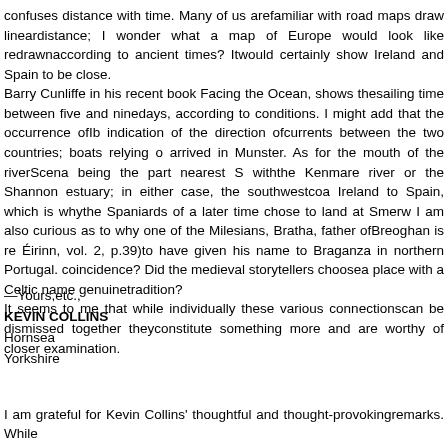confuses distance with time. Many of us arefamiliar with road maps draw lineardistance; I wonder what a map of Europe would look like redrawnaccording to ancient times? Itwould certainly show Ireland and Spain to be close. Barry Cunliffe in his recent book Facing the Ocean, shows thesailing time between five and ninedays, according to conditions. I might add that the occurrence ofIb indication of the direction ofcurrents between the two countries; boats relying o arrived in Munster. As for the mouth of the riverScena being the part nearest S withthe Kenmare river or the Shannon estuary; in either case, the southwestcoa Ireland to Spain, which is whythe Spaniards of a later time chose to land at Smerw I am also curious as to why one of the Milesians, Bratha, father ofBreoghan is re Éirinn, vol. 2, p.39)to have given his name to Braganza in northern Portugal. coincidence? Did the medieval storytellers choosea place with a Celtic name genuinetradition? It seems to me that while individually these various connectionscan be dismissed together theyconstitute something more and are worthy of closer examination.
—Yours,etc., KEVIN COLLINS Hornsea Yorkshire
I am grateful for Kevin Collins' thoughtful and thought-provokingremarks. While